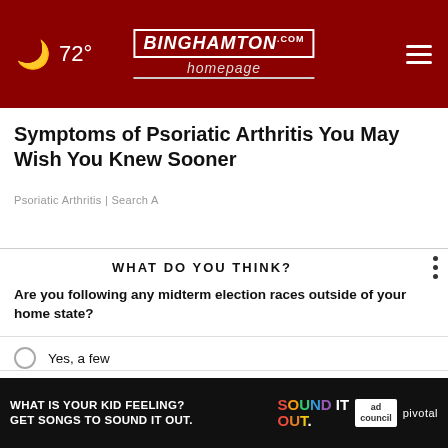🌙 72° | BINGHAMTON homepage.com
Symptoms of Psoriatic Arthritis You May Wish You Knew Sooner
Psoriatic Arthritis | Search A
WHAT DO YOU THINK?
Are you following any midterm election races outside of your home state?
Yes, a few
Yes, one or two
No, I am not
[Figure (infographic): Ad banner: WHAT IS YOUR KID FEELING? GET SONGS TO SOUND IT OUT. — Sound It Out campaign by Ad Council and Pivotal.]